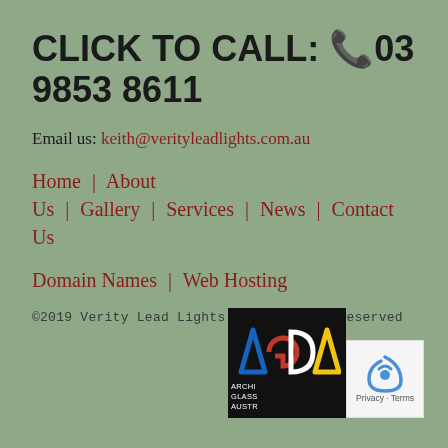CLICK TO CALL: 📞03 9853 8611
Email us: keith@verityleadlights.com.au
Home | About Us | Gallery | Services | News | Contact Us
Domain Names | Web Hosting
©2019 Verity Lead Lights | All Rights Reserved
[Figure (logo): AGDA logo - Architectural Glass Association Australia on black background]
[Figure (logo): reCAPTCHA logo with Privacy and Terms text]